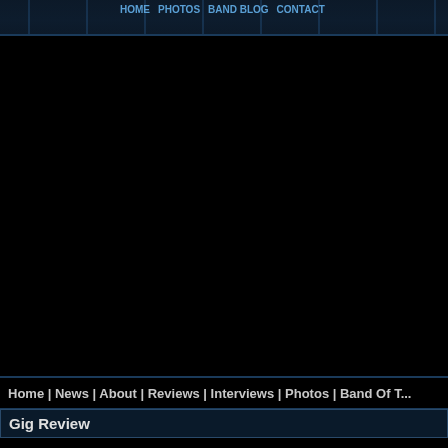[Figure (screenshot): Website header navigation bar with dark blue/black background and navigation menu items]
[Figure (other): Advertisement block, black background]
Home | News | About | Reviews | Interviews | Photos | Band Of T...
Gig Review
Oceansize
Vessels, And So I Watch From Afar
Manchester, Academy 3
2nd February 2010
Oceansize   Vessels   And So I Watch from Afar
And So I Watch You From Afar are a band that I've been intending to catch for a... it's a happy coincidence that they are the first opening band for tonight's headliner Oceansize. The Northern Irish quartet are steadily making a name for themselves as one of the UK's finest pioneer's of convention breaking, head fucking rock. Tonight they open with Set Guitars To Kill, and whilst this is only a short thirty minute set, they blind... with their ferocious musical juggernaut.
Vessels have the unenviable job of being the follow-up to And So I Watch You F... yet tonight's audience have gathered in their masses to see what these Leeds b... rockers have to offer. Unfortunately, Vessels lack the raw edge that the aforem...